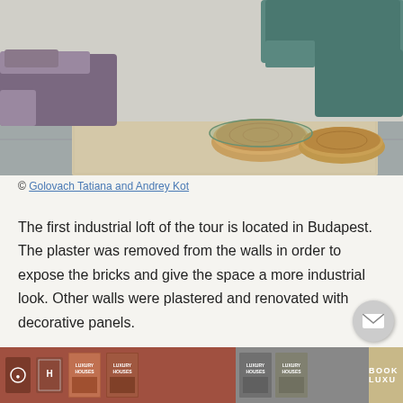[Figure (photo): Interior photo of an industrial loft living room in Budapest featuring low green tufted sofas, purple cushions, a large woven beige rug, and wooden stump coffee tables with a glass-topped round table.]
© Golovach Tatiana and Andrey Kot
The first industrial loft of the tour is located in Budapest. The plaster was removed from the walls in order to expose the bricks and give the space a more industrial look. Other walls were plastered and renovated with decorative panels.
[Figure (infographic): Bottom navigation bar with terracotta/rust background showing Luxury Houses book covers and branding, with a tan section on the right labeled 'BOOK LUXU...']